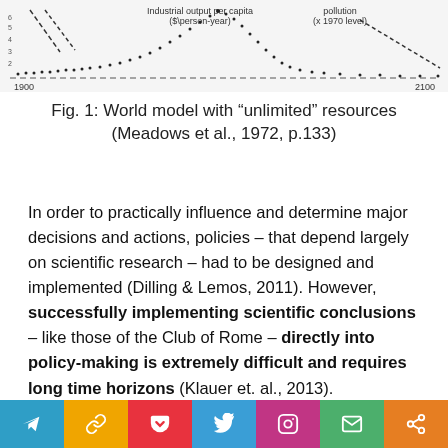[Figure (continuous-plot): Top portion of a world model chart from Meadows et al. 1972, showing dotted curves for industrial output per capita ($/person-year) and pollution (x 1970 level), with x-axis from 1900 to 2100 and a dashed horizontal line.]
Fig. 1: World model with “unlimited” resources (Meadows et al., 1972, p.133)
In order to practically influence and determine major decisions and actions, policies – that depend largely on scientific research – had to be designed and implemented (Dilling & Lemos, 2011). However, successfully implementing scientific conclusions – like those of the Club of Rome – directly into policy-making is extremely difficult and requires long time horizons (Klauer et. al., 2013).
“It oug…
[Figure (infographic): Social sharing toolbar with colored buttons: Telegram (blue), chain-link (orange), Pocket (red), Twitter (blue), Instagram (purple), mail (green), share (orange).]